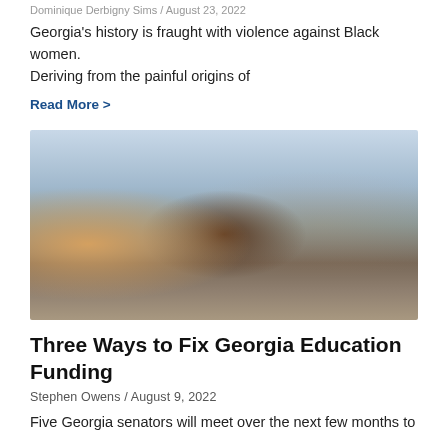Dominique Derbigny Sims / August 23, 2022
Georgia's history is fraught with violence against Black women. Deriving from the painful origins of
Read More >
[Figure (photo): Children sitting at desks in a classroom, writing with pencils. Four children visible: a girl on the left looking down, a boy with glasses in the center, a smiling girl with curly hair, and another child on the right. They appear to be elementary school age.]
Three Ways to Fix Georgia Education Funding
Stephen Owens / August 9, 2022
Five Georgia senators will meet over the next few months to